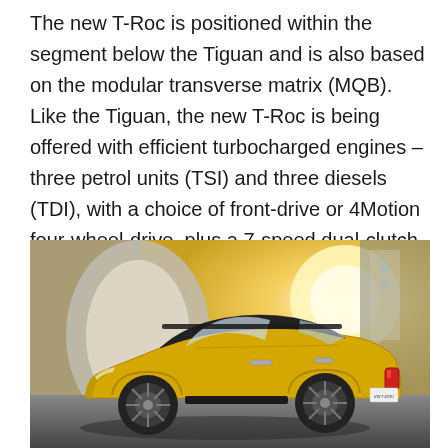The new T-Roc is positioned within the segment below the Tiguan and is also based on the modular transverse matrix (MQB). Like the Tiguan, the new T-Roc is being offered with efficient turbocharged engines – three petrol units (TSI) and three diesels (TDI), with a choice of front-drive or 4Motion four-wheel-drive, plus a 7-speed dual-clutch transmission.
[Figure (photo): Side profile photo of a yellow Volkswagen T-Roc SUV parked in front of a concrete arch structure with bright sunlight in the background.]